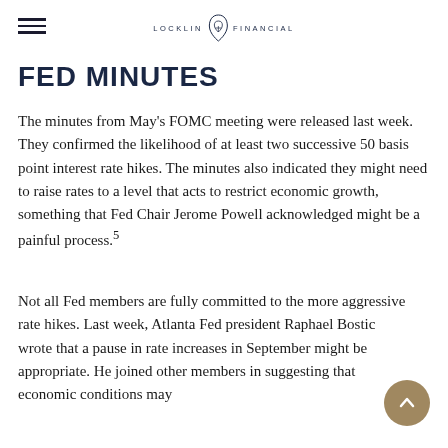LOCKLIN FINANCIAL
FED MINUTES
The minutes from May's FOMC meeting were released last week. They confirmed the likelihood of at least two successive 50 basis point interest rate hikes. The minutes also indicated they might need to raise rates to a level that acts to restrict economic growth, something that Fed Chair Jerome Powell acknowledged might be a painful process.⁵
Not all Fed members are fully committed to the more aggressive rate hikes. Last week, Atlanta Fed president Raphael Bostic wrote that a pause in rate increases in September might be appropriate. He joined other members in suggesting that economic conditions may